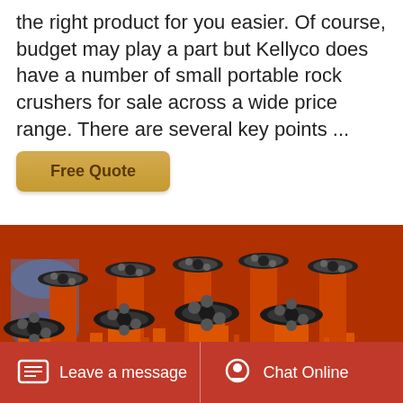the right product for you easier. Of course, budget may play a part but Kellyco does have a number of small portable rock crushers for sale across a wide price range. There are several key points ...
[Figure (other): Free Quote button - gold/yellow rounded rectangle button]
[Figure (photo): Photo of multiple orange-painted rock crusher machines with black circular pulley wheels arranged in rows in a warehouse]
Leave a message   Chat Online